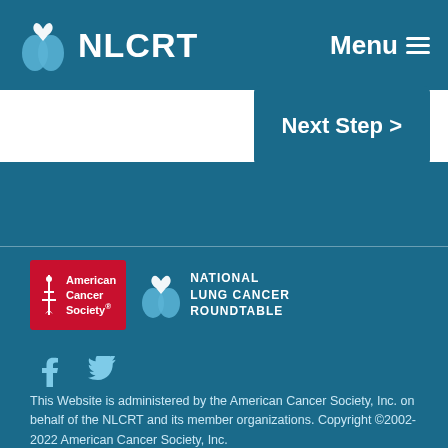NLCRT  Menu
Next Step >
[Figure (logo): American Cancer Society logo and National Lung Cancer Roundtable logo]
[Figure (logo): Facebook and Twitter social media icons]
This Website is administered by the American Cancer Society, Inc. on behalf of the NLCRT and its member organizations. Copyright ©2002-2022 American Cancer Society, Inc.